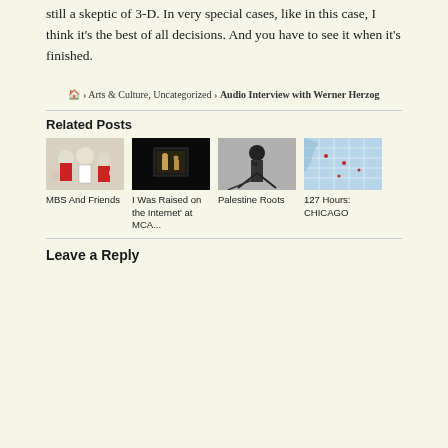still a skeptic of 3-D. In very special cases, like in this case, I think it's the best of all decisions. And you have to see it when it's finished.
🏠 › Arts & Culture, Uncategorized › Audio Interview with Werner Herzog
Related Posts
[Figure (photo): MBS And Friends - illustrated image with figures in red and white]
MBS And Friends
[Figure (photo): I Was Raised on the Internet at MCA... - dark image with lit figures]
I Was Raised on the Internet' at MCA...
[Figure (photo): Palestine Roots - black and white illustrated image]
Palestine Roots
[Figure (map): 127 Hours: CHICAGO - map of Chicago area]
127 Hours: CHICAGO
Leave a Reply